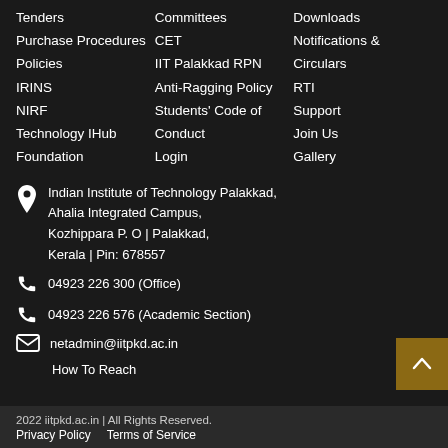Tenders
Purchase Procedures
Policies
IRINS
NIRF
Technology IHub Foundation
Committees
CET
IIT Palakkad RPN
Anti-Ragging Policy
Students' Code of Conduct
Login
Downloads
Notifications & Circulars
RTI
Support
Join Us
Gallery
Indian Institute of Technology Palakkad, Ahalia Integrated Campus, Kozhippara P. O | Palakkad, Kerala | Pin: 678557
04923 226 300 (Office)
04923 226 576 (Academic Section)
netadmin@iitpkd.ac.in
How To Reach
2022 iitpkd.ac.in | All Rights Reserved.
Privacy Policy   Terms of Service